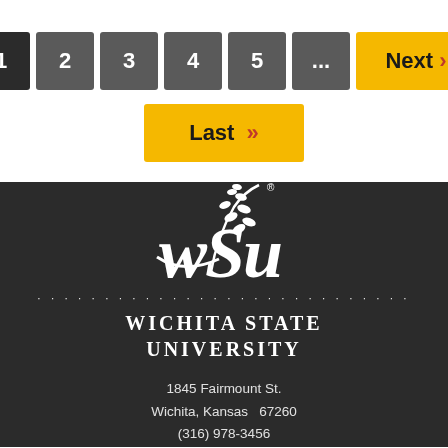[Figure (screenshot): Pagination navigation bar with buttons: 1 (active/dark), 2, 3, 4, 5, ..., Next > (yellow), and a second row with Last >> button (yellow)]
[Figure (logo): Wichita State University logo: white WSU script with wheat stalk above, dotted line separator, WICHITA STATE UNIVERSITY text in white on dark background]
1845 Fairmount St.
Wichita, Kansas  67260
(316) 978-3456